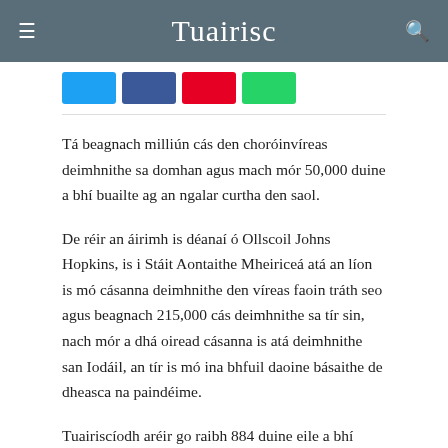Tuairisc
[Figure (other): Social media share buttons: Twitter (blue), Facebook (dark blue), Pinterest (red), WhatsApp (green)]
Tá beagnach milliún cás den choróinvíreas deimhnithe sa domhan agus mach mór 50,000 duine a bhí buailte ag an ngalar curtha den saol.
De réir an áirimh is déanaí ó Ollscoil Johns Hopkins, is i Stáit Aontaithe Mheiriceá atá an líon is mó cásanna deimhnithe den víreas faoin tráth seo agus beagnach 215,000 cás deimhnithe sa tír sin, nach mór a dhá oiread cásanna is atá deimhnithe san Iodáil, an tír is mó ina bhfuil daoine básaithe de dheasca na paindéime.
Tuairiscíodh aréir go raibh 884 duine eile a bhí buailte ag Covid-19 caillte i Stáit Aontaithe Mheiriceá, an líon is mó